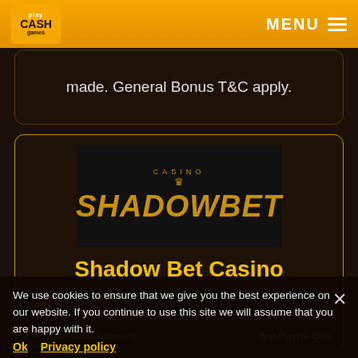Play Cash Games — MENU
made. General Bonus T&C apply.
[Figure (logo): Casino ShadowBet logo — gold text on black background]
Shadow Bet Casino
Deposit £20 Get 100 Spins
*T&Cs Apply.
We use cookies to ensure that we give you the best experience on our website. If you continue to use this site we will assume that you are happy with it.
Ok
Privacy policy
18+ BeGambleAware.org New Players Only.